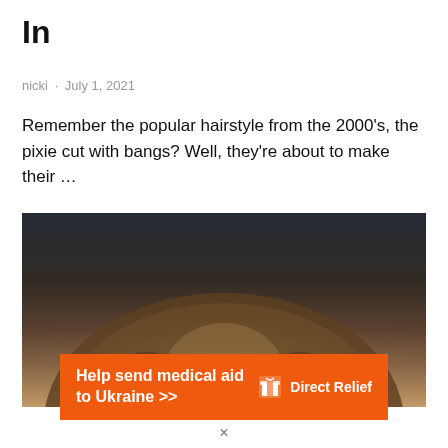In
nicki · July 1, 2021
Remember the popular hairstyle from the 2000's, the pixie cut with bangs? Well, they're about to make their …
[Figure (photo): Close-up top-down photo of a person's head showing a pixie cut hairstyle with bangs, dark blue-gray background]
[Figure (infographic): Orange advertisement banner reading 'Help send medical aid to Ukraine >>' with Direct Relief logo on the right]
×